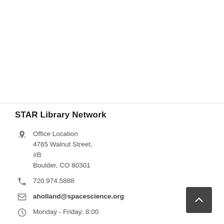STAR Library Network
Office Location
4765 Walnut Street,
#B
Boulder, CO 80301
720.974.5888
aholland@spacescience.org
Monday - Friday: 8:00